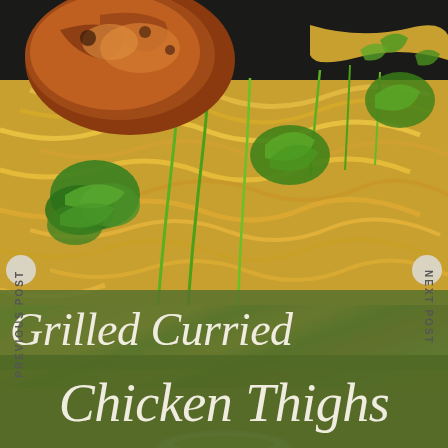[Figure (photo): Close-up food photo of grilled curried chicken thigh on top of yellow curry noodles/fettuccine pasta garnished with fresh green herbs including cilantro, mint, and green onions, served in a dark pan. Bottom strip shows a wooden table surface with a bowl.]
PREVIOUS POST
NEXT POST
Grilled Curried Chicken Thighs